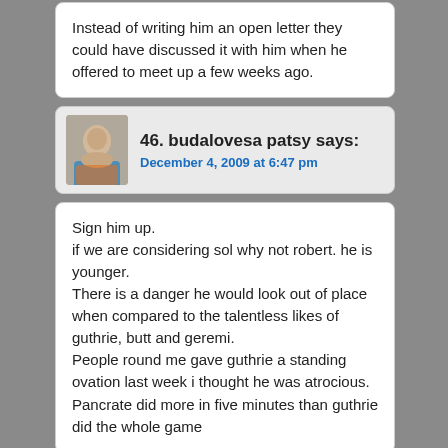Instead of writing him an open letter they could have discussed it with him when he offered to meet up a few weeks ago.
46. budalovesa patsy says:
December 4, 2009 at 6:47 pm
Sign him up.
if we are considering sol why not robert. he is younger.
There is a danger he would look out of place when compared to the talentless likes of guthrie, butt and geremi.
People round me gave guthrie a standing ovation last week i thought he was atrocious.
Pancrate did more in five minutes than guthrie did the whole game